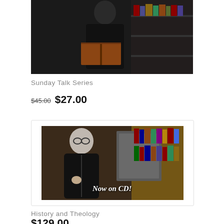[Figure (photo): Photo of a person in dark clothing holding a book, in front of a bookshelf. Partial view, cropped at top of page.]
Sunday Talk Series
$45.00 $27.00
[Figure (photo): Photo of an elderly man with glasses wearing dark clothing, standing in front of a bookshelf. Text overlay reads 'Now on CD!']
History and Theology
$129.00